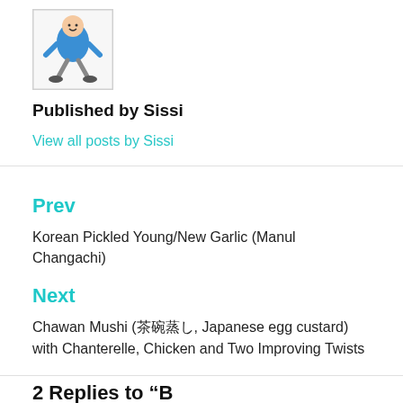[Figure (illustration): A cartoon character in blue shirt doing a squat or dance pose, with gray legs]
Published by Sissi
View all posts by Sissi
Prev
Korean Pickled Young/New Garlic (Manul Changachi)
Next
Chawan Mushi (茶碗蒸し, Japanese egg custard) with Chanterelle, Chicken and Two Improving Twists
2 Replies to “Bound by a…”